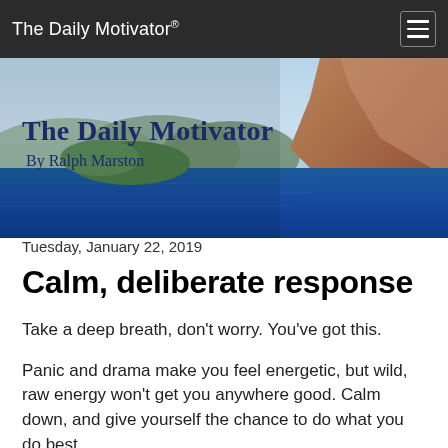The Daily Motivator®
[Figure (photo): Scenic coastal photo showing blue sea water with rocky mountainous islands and cliffs in the background, overlaid with the text 'The Daily Motivator By Ralph Marston' in dark blue serif font.]
Tuesday, January 22, 2019
Calm, deliberate response
Take a deep breath, don't worry. You've got this.
Panic and drama make you feel energetic, but wild, raw energy won't get you anywhere good. Calm down, and give yourself the chance to do what you do best.